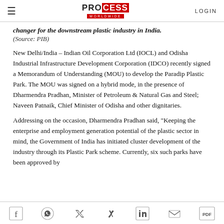PROCESS WORLDWIDE | LOGIN
changer for the downstream plastic industry in India.
(Source: PIB)
New Delhi/India – Indian Oil Corporation Ltd (IOCL) and Odisha Industrial Infrastructure Development Corporation (IDCO) recently signed a Memorandum of Understanding (MOU) to develop the Paradip Plastic Park. The MOU was signed on a hybrid mode, in the presence of Dharmendra Pradhan, Minister of Petroleum & Natural Gas and Steel; Naveen Patnaik, Chief Minister of Odisha and other dignitaries.
Addressing on the occasion, Dharmendra Pradhan said, "Keeping the enterprise and employment generation potential of the plastic sector in mind, the Government of India has initiated cluster development of the industry through its Plastic Park scheme. Currently, six such parks have been approved by
Social icons: Facebook, WhatsApp, Twitter, Xing, LinkedIn, Email, PDF